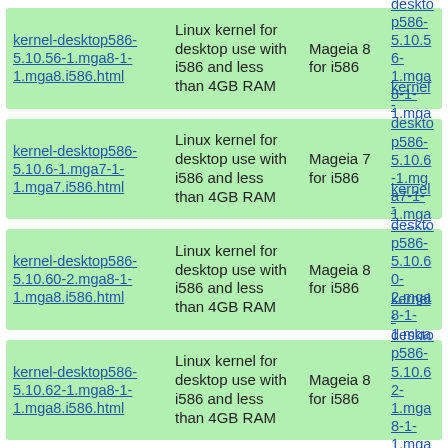| Link (HTML) | Description | Version | Link (RPM) |
| --- | --- | --- | --- |
| kernel-desktop586-5.10.56-1.mga8-1-1.mga8.i586.html | Linux kernel for desktop use with i586 and less than 4GB RAM | Mageia 8 for i586 | kernel-desktop586-5.10.56-1.mga8-1-1.mga8.i586.rpm |
| kernel-desktop586-5.10.6-1.mga7-1-1.mga7.i586.html | Linux kernel for desktop use with i586 and less than 4GB RAM | Mageia 7 for i586 | kernel-desktop586-5.10.6-1.mga7-1-1.mga7.i586.rpm |
| kernel-desktop586-5.10.60-2.mga8-1-1.mga8.i586.html | Linux kernel for desktop use with i586 and less than 4GB RAM | Mageia 8 for i586 | kernel-desktop586-5.10.60-2.mga8-1-1.mga8.i586.rpm |
| kernel-desktop586-5.10.62-1.mga8-1-1.mga8.i586.html | Linux kernel for desktop use with i586 and less than 4GB RAM | Mageia 8 for i586 | kernel-desktop586-5.10.62-1.mga8-1-1.mga8.i586.rpm |